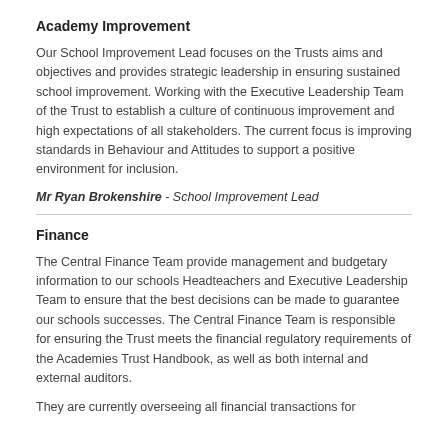Academy Improvement
Our School Improvement Lead focuses on the Trusts aims and objectives and provides strategic leadership in ensuring sustained school improvement. Working with the Executive Leadership Team of the Trust to establish a culture of continuous improvement and high expectations of all stakeholders. The current focus is improving standards in Behaviour and Attitudes to support a positive environment for inclusion.
Mr Ryan Brokenshire - School Improvement Lead
Finance
The Central Finance Team provide management and budgetary information to our schools Headteachers and Executive Leadership Team to ensure that the best decisions can be made to guarantee our schools successes.  The Central Finance Team is responsible for ensuring the Trust meets the financial regulatory requirements of the Academies Trust Handbook, as well as both internal and external auditors.
They are currently overseeing all financial transactions for...